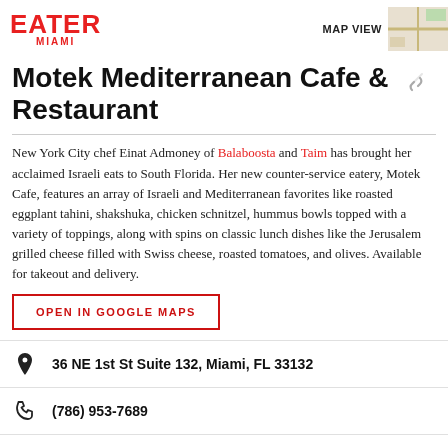EATER MIAMI
Motek Mediterranean Cafe & Restaurant
New York City chef Einat Admoney of Balaboosta and Taim has brought her acclaimed Israeli eats to South Florida. Her new counter-service eatery, Motek Cafe, features an array of Israeli and Mediterranean favorites like roasted eggplant tahini, shakshuka, chicken schnitzel, hummus bowls topped with a variety of toppings, along with spins on classic lunch dishes like the Jerusalem grilled cheese filled with Swiss cheese, roasted tomatoes, and olives. Available for takeout and delivery.
OPEN IN GOOGLE MAPS
36 NE 1st St Suite 132, Miami, FL 33132
(786) 953-7689
Visit Website